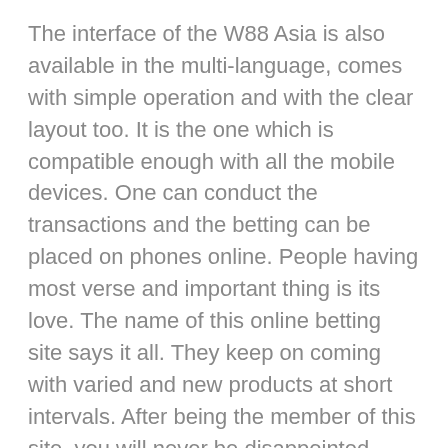The interface of the W88 Asia is also available in the multi-language, comes with simple operation and with the clear layout too. It is the one which is compatible enough with all the mobile devices. One can conduct the transactions and the betting can be placed on phones online. People having most verse and important thing is its love. The name of this online betting site says it all. They keep on coming with varied and new products at short intervals. After being the member of this site, you will never be disappointed.
Let’s know about what is online casino?
Casino is a place where a type of betting games with certain group of people play, likewise online casino is also a betting game as it was held through the way of internet via these players can gamble. Online casino called in other terms as virtual or also internet casino as it was playing...